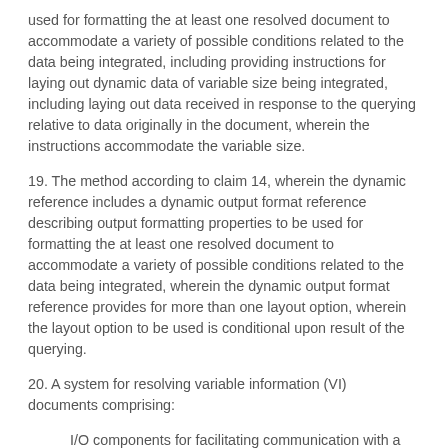used for formatting the at least one resolved document to accommodate a variety of possible conditions related to the data being integrated, including providing instructions for laying out dynamic data of variable size being integrated, including laying out data received in response to the querying relative to data originally in the document, wherein the instructions accommodate the variable size.
19. The method according to claim 14, wherein the dynamic reference includes a dynamic output format reference describing output formatting properties to be used for formatting the at least one resolved document to accommodate a variety of possible conditions related to the data being integrated, wherein the dynamic output format reference provides for more than one layout option, wherein the layout option to be used is conditional upon result of the querying.
20. A system for resolving variable information (VI) documents comprising:
I/O components for facilitating communication with a plurality of data sources and for receiving a request having a dynamic